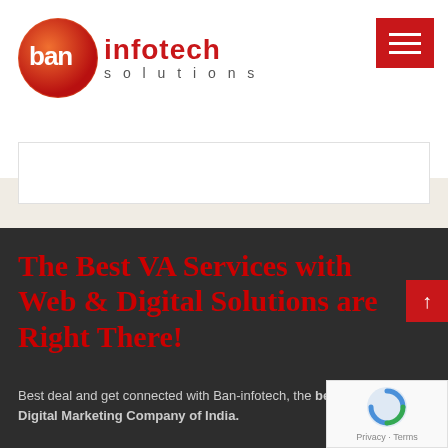[Figure (logo): Ban Infotech Solutions logo — circular orange-red gradient icon with 'ban' text, followed by 'infotech solutions' in red and grey]
[Figure (other): Red hamburger menu button with three white horizontal lines]
The Best VA Services with Web & Digital Solutions are Right There!
Best deal and get connected with Ban-infotech, the best VA, Web & Digital Marketing Company of India.